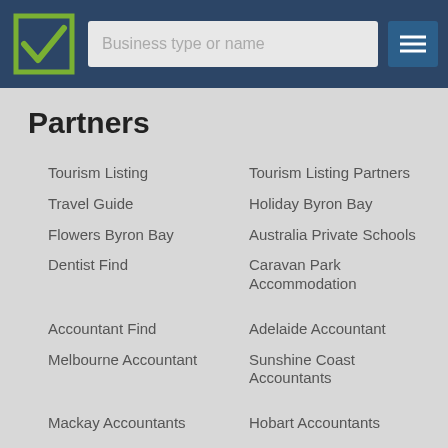Business type or name
Partners
Tourism Listing
Tourism Listing Partners
Travel Guide
Holiday Byron Bay
Flowers Byron Bay
Australia Private Schools
Dentist Find
Caravan Park Accommodation
Accountant Find
Adelaide Accountant
Melbourne Accountant
Sunshine Coast Accountants
Mackay Accountants
Hobart Accountants
Cairns Accountant
Townsville Accountants
Accountants Canberra
Accountants Sydney
Gold Coast Accountants
Accountant Brisbane
Byron Bay Accountants
Newcastle Accountants
Accountants Perth
Accommodation Find